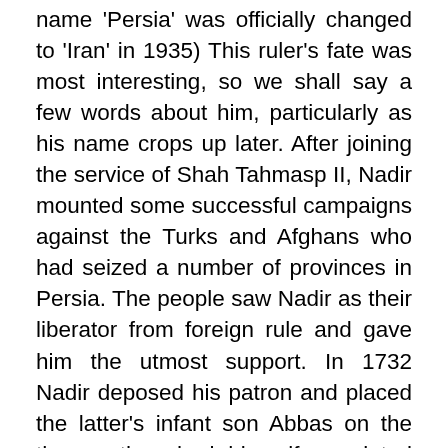name 'Persia' was officially changed to 'Iran' in 1935) This ruler's fate was most interesting, so we shall say a few words about him, particularly as his name crops up later. After joining the service of Shah Tahmasp II, Nadir mounted some successful campaigns against the Turks and Afghans who had seized a number of provinces in Persia. The people saw Nadir as their liberator from foreign rule and gave him the utmost support. In 1732 Nadir deposed his patron and placed the latter's infant son Abbas on the throne, then had himself appointed regent. In 1736 Nadir declared himself shah, after which he continued to conquer neighboring countries, including Northern India, where he captured and looted the treasures of Delhi. The mighty empire created by him depended on a regime of cruelest tyranny, as a result of which in around 1740s the...